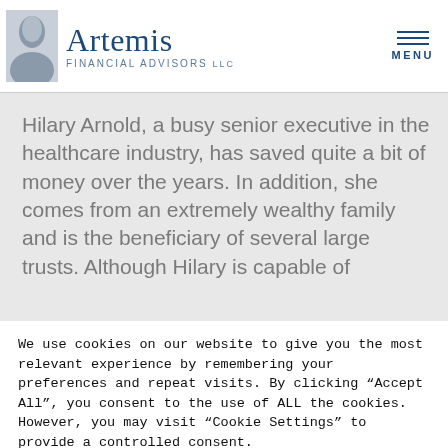[Figure (logo): Artemis Financial Advisors LLC logo with portrait silhouette illustration]
Hilary Arnold, a busy senior executive in the healthcare industry, has saved quite a bit of money over the years. In addition, she comes from an extremely wealthy family and is the beneficiary of several large trusts. Although Hilary is capable of
We use cookies on our website to give you the most relevant experience by remembering your preferences and repeat visits. By clicking “Accept All”, you consent to the use of ALL the cookies. However, you may visit "Cookie Settings" to provide a controlled consent.
Cookie Settings | Accept All